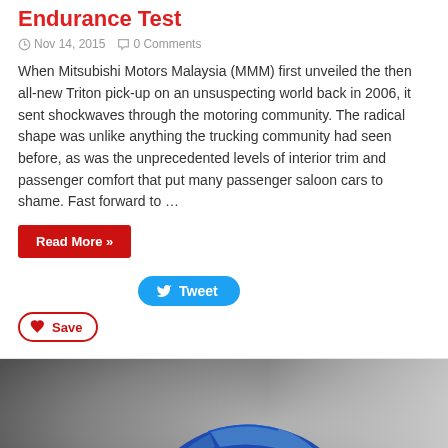Endurance Test
Nov 14, 2015   0 Comments
When Mitsubishi Motors Malaysia (MMM) first unveiled the then all-new Triton pick-up on an unsuspecting world back in 2006, it sent shockwaves through the motoring community. The radical shape was unlike anything the trucking community had seen before, as was the unprecedented levels of interior trim and passenger comfort that put many passenger saloon cars to shame. Fast forward to …
Read More »
Tweet
Save
[Figure (photo): Blue BMW 3-series sedan photographed on a grey gradient background, front three-quarter view, license plate H XF 5171]